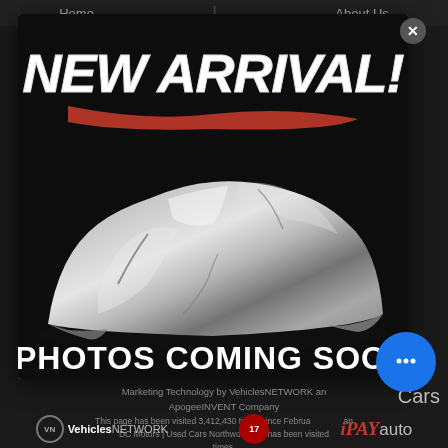Home | About Us
[Figure (photo): Modal popup showing a car covered with a silver/chrome cover on a dark background. Text overlay reads 'NEW ARRIVAL!' at the top in bold italic white letters with a red brush stroke, and 'PHOTOS COMING SOON' at the bottom in white bold text.]
Cars
Marketing Technology by VehiclesNETWORK an ApogeeINVENT Company
This page has been visited 3,412,430 times since Februa... DC Motors | Used Cars Northwood OH has been visited... times.
[Figure (logo): VehiclesNETWORK logo with circle icon]
[Figure (logo): Middle circular red logo]
[Figure (logo): iPAY auto logo in red italic text]